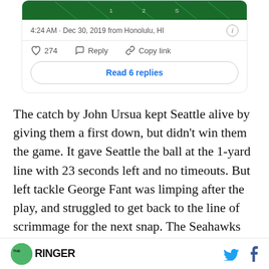[Figure (screenshot): Tweet card showing timestamp 4:24 AM · Dec 30, 2019 from Honolulu, HI with like count 274, Reply, Copy link actions and Read 6 replies button]
The catch by John Ursua kept Seattle alive by giving them a first down, but didn't win them the game. It gave Seattle the ball at the 1-yard line with 23 seconds left and no timeouts. But left tackle George Fant was limping after the play, and struggled to get back to the line of scrimmage for the next snap. The Seahawks had no timeouts left
THE RINGER